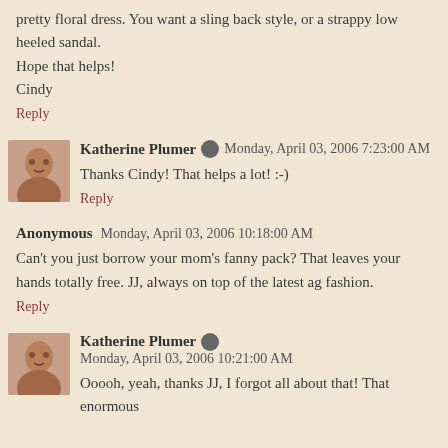pretty floral dress. You want a sling back style, or a strappy low heeled sandal.
Hope that helps!
Cindy
Reply
Katherine Plumer  Monday, April 03, 2006 7:23:00 AM
Thanks Cindy! That helps a lot! :-)
Reply
Anonymous  Monday, April 03, 2006 10:18:00 AM
Can't you just borrow your mom's fanny pack? That leaves your hands totally free. JJ, always on top of the latest ag fashion.
Reply
Katherine Plumer  Monday, April 03, 2006 10:21:00 AM
Ooooh, yeah, thanks JJ, I forgot all about that! That enormous